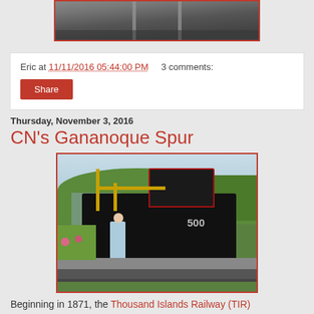[Figure (photo): Top portion of a train tracks photograph with a red border, partially cropped]
Eric at 11/11/2016 05:44:00 PM    3 comments:
Share
Thursday, November 3, 2016
CN's Gananoque Spur
[Figure (photo): A person standing next to a black locomotive numbered 500 with yellow railings, parked near flowers and trees]
Beginning in 1871, the Thousand Islands Railway (TIR) connected the town of Gananoque...